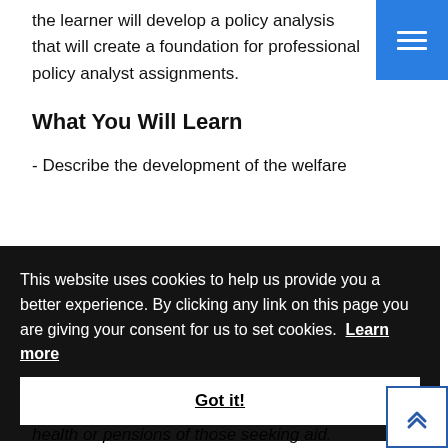the learner will develop a policy analysis that will create a foundation for professional policy analyst assignments.
What You Will Learn
- Describe the development of the welfare
This website uses cookies to help us provide you a better experience. By clicking any link on this page you are giving your consent for us to set cookies.  Learn more
Got it!
health or pensions of those seeking aid.